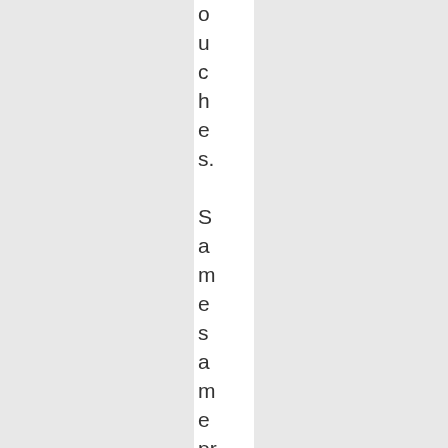ouches. Same same product in both but the e